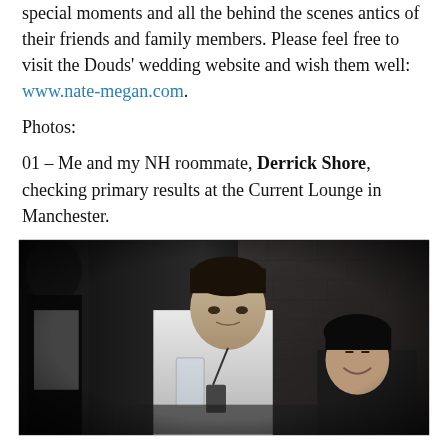special moments and all the behind the scenes antics of their friends and family members. Please feel free to visit the Douds' wedding website and wish them well: www.nate-megan.com.
Photos:
01 – Me and my NH roommate, Derrick Shore, checking primary results at the Current Lounge in Manchester.
[Figure (photo): Black and white photo of two men at an event venue. One man in the center is holding a glass and looking down, wearing a white shirt with a lanyard. Another man is visible on the right side smiling. A brick wall is visible in the background. A person in dark clothing is partially visible on the left edge.]